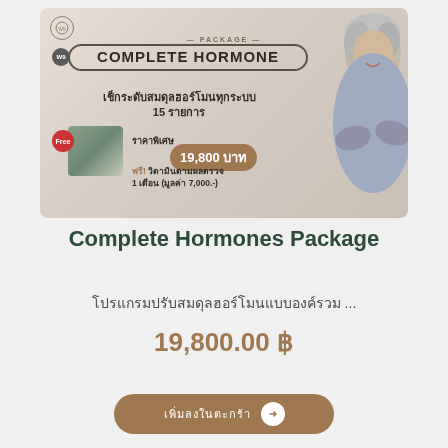[Figure (infographic): Complete Hormone Package advertisement banner with Thai text, price 19,800 baht, and woman with gray hair. Shows W9 Complete Hormone package, special price 19,800 baht, free vitamins worth 7,000 baht.]
Complete Hormones Package
โปรแกรมปรับสมดุลฮอร์โมนแบบองค์รวม ...
19,800.00 ฿
เพิ่มลงในตะกร้า →